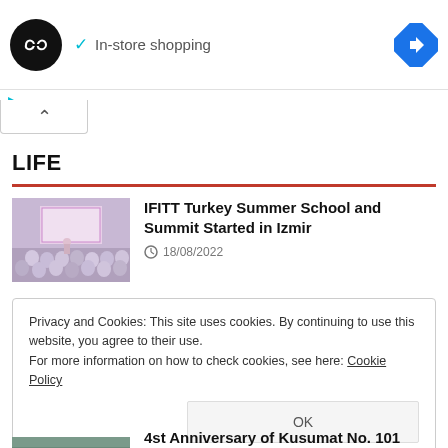[Figure (screenshot): Ad banner with circular black logo with infinity symbol, checkmark, 'In-store shopping' text, and blue navigation diamond icon on the right]
[Figure (screenshot): Ad controls: play triangle and X button in cyan color]
[Figure (screenshot): Collapse tab with upward caret arrow]
LIFE
[Figure (photo): Conference or event photo showing audience and speaker on stage with purple/pink backdrop]
IFITT Turkey Summer School and Summit Started in Izmir
18/08/2022
Privacy and Cookies: This site uses cookies. By continuing to use this website, you agree to their use.
For more information on how to check cookies, see here: Cookie Policy
OK
4st Anniversary of Kusumat No. 101 Ship to